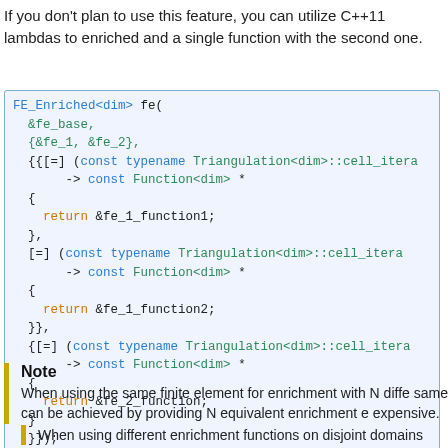If you don't plan to use this feature, you can utilize C++11 lambdas to enriched and a single function with the second one.
[Figure (screenshot): C++ code block showing FE_Enriched constructor with lambda functions for fe_1_function1, fe_1_function2, and fe_2_function]
Note
When using the same finite element for enrichment with N diffe same can be achieved by providing N equivalent enrichment e expensive.
When using different enrichment functions on disjoint domains